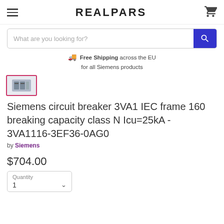REALPARS
What are you looking for?
Free Shipping across the EU for all Siemens products
[Figure (photo): Product thumbnail image of a Siemens circuit breaker]
Siemens circuit breaker 3VA1 IEC frame 160 breaking capacity class N Icu=25kA - 3VA1116-3EF36-0AG0
by Siemens
$704.00
Quantity
1